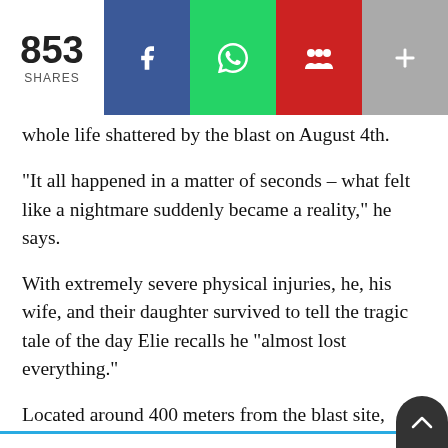[Figure (infographic): Social share bar showing 853 shares, with Facebook (blue), WhatsApp (green), MySpace/people (red), and more (+) (grey) buttons]
whole life shattered by the blast on August 4th.
“It all happened in a matter of seconds – what felt like a nightmare suddenly became a reality,” he says.
With extremely severe physical injuries, he, his wife, and their daughter survived to tell the tragic tale of the day Elie recalls he “almost lost everything.”
Located around 400 meters from the blast site, Elie’s entire home came crashing down. The comforting home he had personally renovated and put all his savings into was turned to rubble in seconds.
He told The961 that he did not receive adequate support